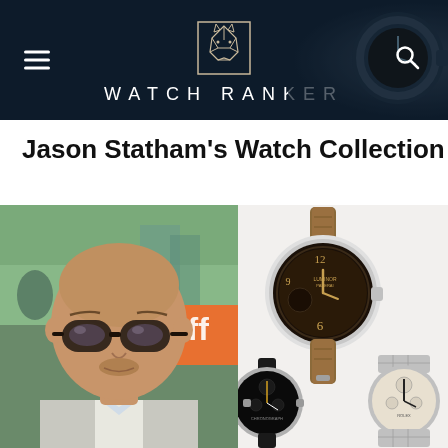[Figure (logo): Watch Ranker website header with hamburger menu, geometric horse logo, site name 'WATCH RANKER', and search icon on dark navy background with watch imagery]
Jason Statham's Watch Collection
[Figure (photo): Left: close-up photo of Jason Statham wearing aviator sunglasses in front of TIFF banner. Right: collage of luxury watches including a large Panerai Luminor on brown leather strap, a black chronograph, and a vintage white-dial chronograph on bracelet.]